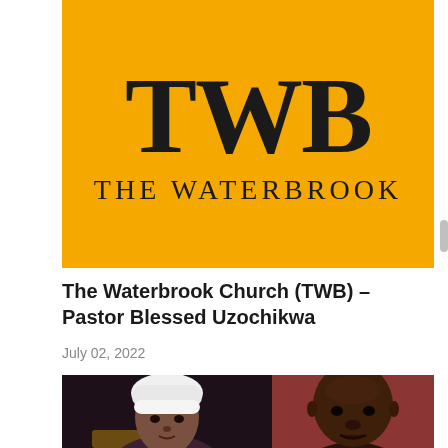[Figure (logo): The Waterbrook Church (TWB) logo — large serif letters TWB on a golden/amber yellow background, with 'THE WATERBROOK' text below in smaller spaced serif letters]
The Waterbrook Church (TWB) – Pastor Blessed Uzochikwa
July 02, 2022
[Figure (photo): Two people side by side: on the left a woman wearing a white headwrap seated against a dark ornate background with gold detail, on the right a bald Black man against a reddish background]